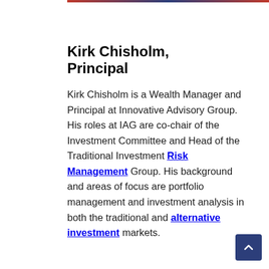Kirk Chisholm, Principal
Kirk Chisholm is a Wealth Manager and Principal at Innovative Advisory Group. His roles at IAG are co-chair of the Investment Committee and Head of the Traditional Investment Risk Management Group. His background and areas of focus are portfolio management and investment analysis in both the traditional and alternative investment markets.